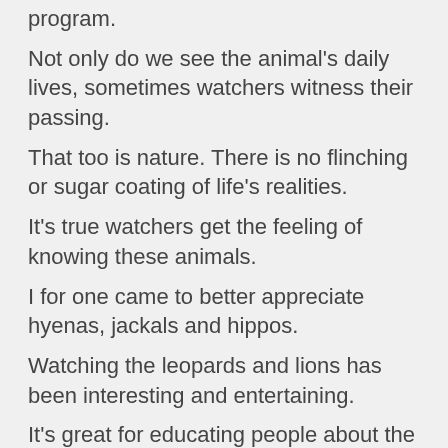program.
Not only do we see the animal's daily lives, sometimes watchers witness their passing.
That too is nature. There is no flinching or sugar coating of life's realities.
It's true watchers get the feeling of knowing these animals.
I for one came to better appreciate hyenas, jackals and hippos.
Watching the leopards and lions has been interesting and entertaining.
It's great for educating people about the complex lives of wild animals.